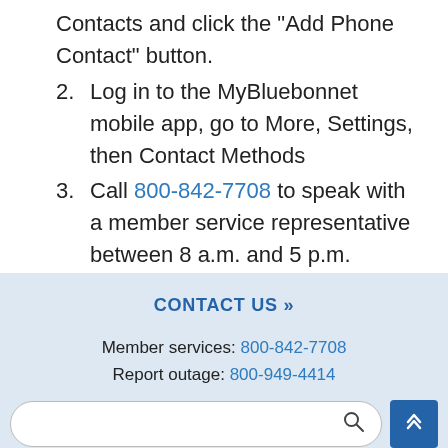Contacts and click the “Add Phone Contact” button.
2. Log in to the MyBluebonnet mobile app, go to More, Settings, then Contact Methods
3. Call 800-842-7708 to speak with a member service representative between 8 a.m. and 5 p.m. Monday through Friday.
CONTACT US »
Member services: 800-842-7708
Report outage: 800-949-4414